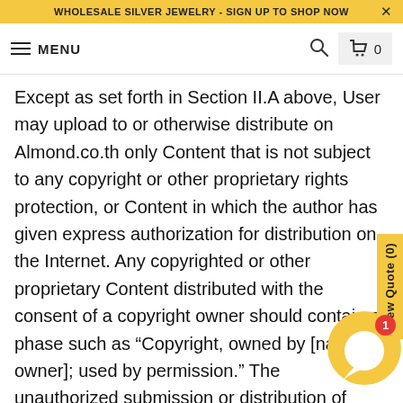WHOLESALE SILVER JEWELRY - SIGN UP TO SHOP NOW
MENU
Except as set forth in Section II.A above, User may upload to or otherwise distribute on Almond.co.th only Content that is not subject to any copyright or other proprietary rights protection, or Content in which the author has given express authorization for distribution on the Internet. Any copyrighted or other proprietary Content distributed with the consent of a copyright owner should contain a phase such as “Copyright, owned by [name of owner]; used by permission.” The unauthorized submission or distribution of copyrighted or other proprietary Content is illegal and could subject the User to criminal prosecution as well as personal liability for damages in a civil suit. U... be liable for any damage resulting from any infringement of copyrights or proprietary rights, or from any other harm arising from such submission.